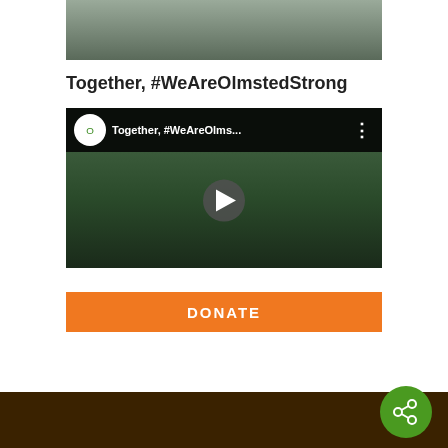[Figure (photo): Partial photo of a person/statue at top of page]
Together, #WeAreOlmstedStrong
[Figure (screenshot): YouTube video thumbnail for 'Together, #WeAreOlms...' with play button, showing green park/nature aerial view and Olmsted Parks Conservancy logo]
[Figure (other): Orange DONATE button]
[Figure (other): Dark brown footer bar with green circular share/network icon button]